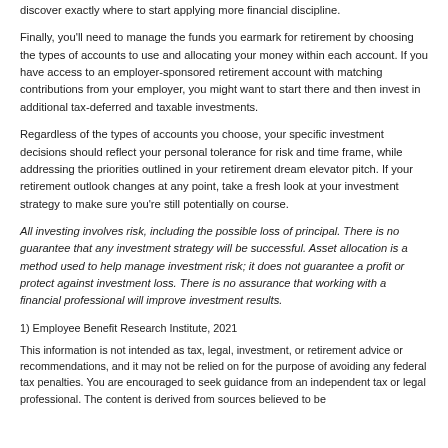discover exactly where to start applying more financial discipline.
Finally, you'll need to manage the funds you earmark for retirement by choosing the types of accounts to use and allocating your money within each account. If you have access to an employer-sponsored retirement account with matching contributions from your employer, you might want to start there and then invest in additional tax-deferred and taxable investments.
Regardless of the types of accounts you choose, your specific investment decisions should reflect your personal tolerance for risk and time frame, while addressing the priorities outlined in your retirement dream elevator pitch. If your retirement outlook changes at any point, take a fresh look at your investment strategy to make sure you're still potentially on course.
All investing involves risk, including the possible loss of principal. There is no guarantee that any investment strategy will be successful. Asset allocation is a method used to help manage investment risk; it does not guarantee a profit or protect against investment loss. There is no assurance that working with a financial professional will improve investment results.
1) Employee Benefit Research Institute, 2021
This information is not intended as tax, legal, investment, or retirement advice or recommendations, and it may not be relied on for the purpose of avoiding any federal tax penalties. You are encouraged to seek guidance from an independent tax or legal professional. The content is derived from sources believed to be